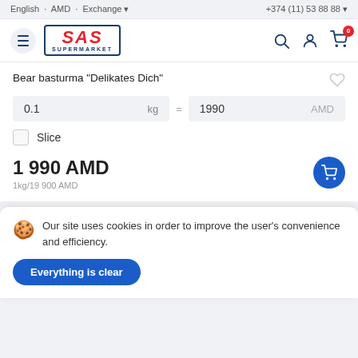English · AMD · Exchange   +374 (11) 53 88 88
[Figure (logo): SAS Supermarket logo in blue border box with red SAS text]
Bear basturma "Delikates Dich"
0.1 kg = 1990 AMD
Slice
1 990 AMD
1kg/19 900 AMD
Our site uses cookies in order to improve the user's convenience and efficiency.
Everything is clear